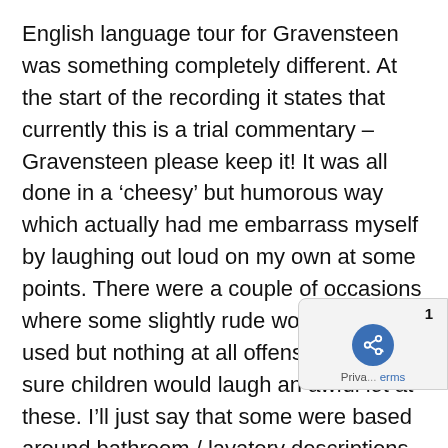English language tour for Gravensteen was something completely different. At the start of the recording it states that currently this is a trial commentary – Gravensteen please keep it! It was all done in a 'cheesy' but humorous way which actually had me embarrass myself by laughing out loud on my own at some points. There were a couple of occasions where some slightly rude words were used but nothing at all offensive – I'm sure children would laugh an awful lot at these. I'll just say that some were based around bathroom / lavatory descriptions and leave it at that!!
One thing I would mention is that if you plan to visit Gravensteen that you wear practical footwear and don't have mobility